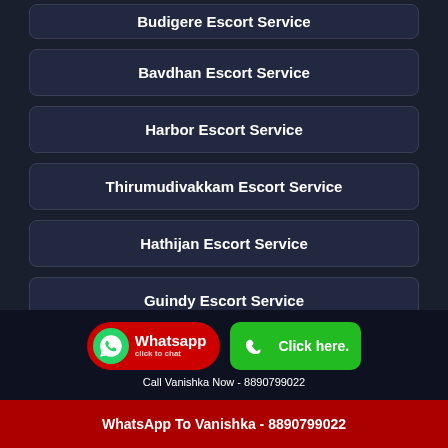Budigere Escort Service
Bavdhan Escort Service
Harbor Escort Service
Thirumudivakkam Escort Service
Hathijan Escort Service
Guindy Escort Service
Pimpalgaon-Tarf-Khed Escort Service
Call Vanishka Now - 8890799022
WhatsApp To Vanishka - 8890799022